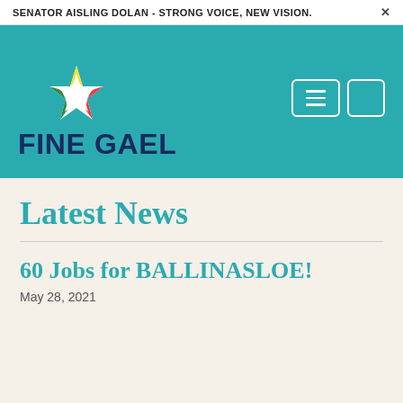SENATOR AISLING DOLAN - STRONG VOICE, NEW VISION.  ×
[Figure (logo): Fine Gael logo with star graphic and 'FINE GAEL' text in dark blue on teal background, with menu and search buttons]
Latest News
60 Jobs for BALLINASLOE!
May 28, 2021